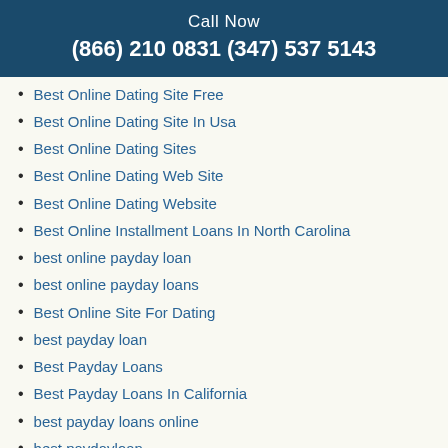Call Now
(866) 210 0831 (347) 537 5143
Best Online Dating Site Free
Best Online Dating Site In Usa
Best Online Dating Sites
Best Online Dating Web Site
Best Online Dating Website
Best Online Installment Loans In North Carolina
best online payday loan
best online payday loans
Best Online Site For Dating
best payday loan
Best Payday Loans
Best Payday Loans In California
best payday loans online
best paydayloan
Best Resume Websites
Best Seattle Dating Site
Call Now
(866) 210 0831 (347) 537 5143